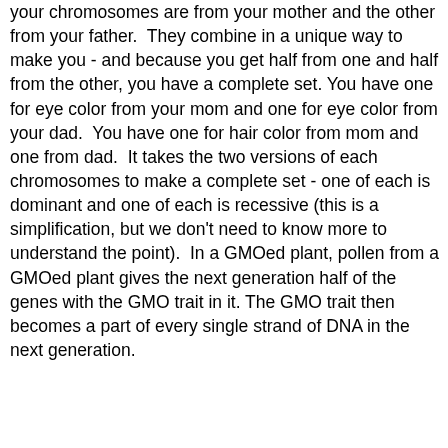your chromosomes are from your mother and the other from your father.  They combine in a unique way to make you - and because you get half from one and half from the other, you have a complete set. You have one for eye color from your mom and one for eye color from your dad.  You have one for hair color from mom and one from dad.  It takes the two versions of each chromosomes to make a complete set - one of each is dominant and one of each is recessive (this is a simplification, but we don't need to know more to understand the point).  In a GMOed plant, pollen from a GMOed plant gives the next generation half of the genes with the GMO trait in it. The GMO trait then becomes a part of every single strand of DNA in the next generation.